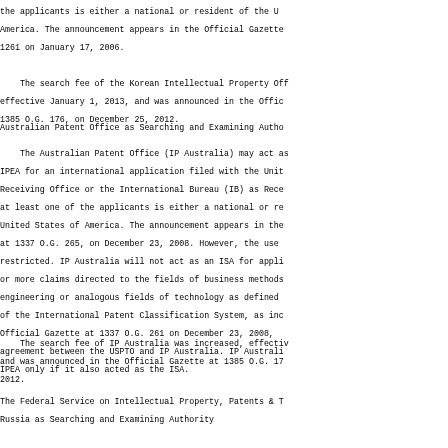the applicants is either a national or resident of the United States of America. The announcement appears in the Official Gazette at 1261 on January 17, 2006.
The search fee of the Korean Intellectual Property Office was effective January 1, 2013, and was announced in the Official Gazette at 1385 O.G. 176, on December 25, 2012.
Australian Patent Office as Searching and Examining Authority
The Australian Patent Office (IP Australia) may act as an ISA or IPEA for an international application filed with the United States Receiving Office or the International Bureau (IB) as Receiving Office if at least one of the applicants is either a national or resident of the United States of America. The announcement appears in the Official Gazette at 1337 O.G. 265, on December 23, 2008. However, the use of IP Australia is restricted. IP Australia will not act as an ISA for applications with one or more claims directed to the fields of business methods, software, or electrical engineering or analogous fields of technology as defined by subclasses of the International Patent Classification System, as indicated in the Official Gazette at 1337 O.G. 261 on December 23, 2008, in the bilateral agreement between the USPTO and IP Australia. IP Australia will act as IPEA only if it also acted as the ISA.
The search fee of IP Australia was increased, effective January 1, 2013 and was announced in the Official Gazette at 1385 O.G. 176, on December 25, 2012.
The Federal Service on Intellectual Property, Patents & Trademarks of Russia as Searching and Examining Authority